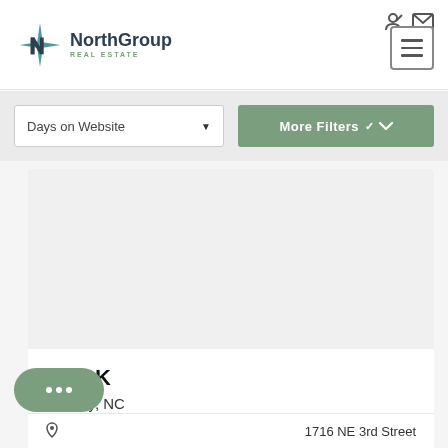[Figure (logo): NorthGroup Real Estate logo with teal star/compass mark and company name]
Days on Website
More Filters
$849K
Hickory, NC
1716 NE 3rd Street